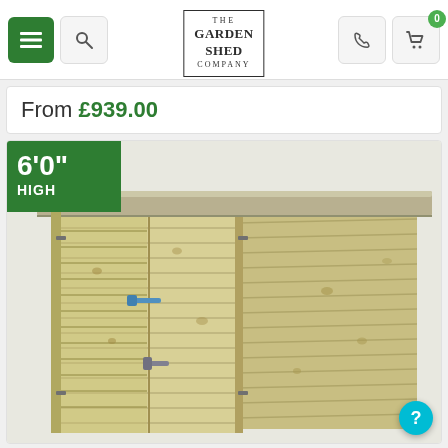The Garden Shed Company — navigation header with menu, search, logo, phone, and cart buttons
From £939.00
[Figure (photo): Wooden garden shed with tongue-and-groove cladding, flat roof, and double doors with metal hasps. Height badge shows 6'0" HIGH in green overlay on top-left corner.]